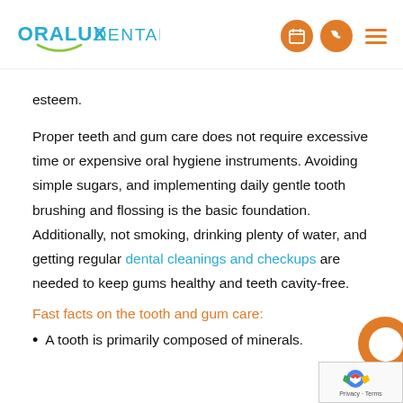ORALUX DENTAL
esteem.
Proper teeth and gum care does not require excessive time or expensive oral hygiene instruments. Avoiding simple sugars, and implementing daily gentle tooth brushing and flossing is the basic foundation. Additionally, not smoking, drinking plenty of water, and getting regular dental cleanings and checkups are needed to keep gums healthy and teeth cavity-free.
Fast facts on the tooth and gum care:
A tooth is primarily composed of minerals.